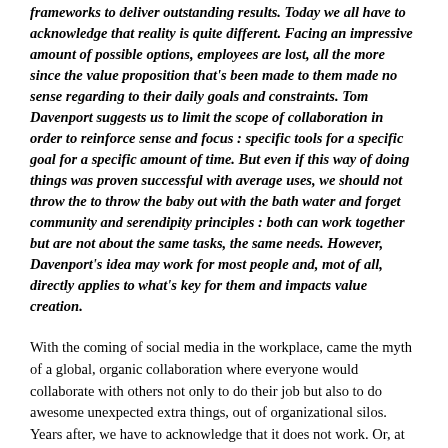frameworks to deliver outstanding results. Today we all have to acknowledge that reality is quite different. Facing an impressive amount of possible options, employees are lost, all the more since the value proposition that's been made to them made no sense regarding to their daily goals and constraints. Tom Davenport suggests us to limit the scope of collaboration in order to reinforce sense and focus : specific tools for a specific goal for a specific amount of time. But even if this way of doing things was proven successful with average uses, we should not throw the to throw the baby out with the bath water and forget community and serendipity principles : both can work together but are not about the same tasks, the same needs. However, Davenport's idea may work for most people and, mot of all, directly applies to what's key for them and impacts value creation.
With the coming of social media in the workplace, came the myth of a global, organic collaboration where everyone would collaborate with others not only to do their job but also to do awesome unexpected extra things, out of organizational silos. Years after, we have to acknowledge that it does not work. Or, at least, not the way we expected to.
The reason is quite simple to get and has been dealt with many